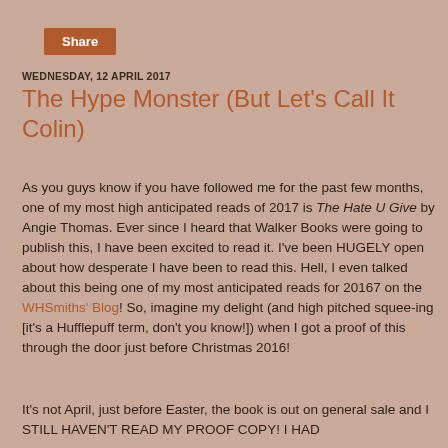Share
WEDNESDAY, 12 APRIL 2017
The Hype Monster (But Let's Call It Colin)
As you guys know if you have followed me for the past few months, one of my most high anticipated reads of 2017 is The Hate U Give by Angie Thomas. Ever since I heard that Walker Books were going to publish this, I have been excited to read it. I've been HUGELY open about how desperate I have been to read this. Hell, I even talked about this being one of my most anticipated reads for 20167 on the WHSmiths' Blog! So, imagine my delight (and high pitched squee-ing [it's a Hufflepuff term, don't you know!]) when I got a proof of this through the door just before Christmas 2016!
It's not April, just before Easter, the book is out on general sale and I STILL HAVEN'T READ MY PROOF COPY! I HAD